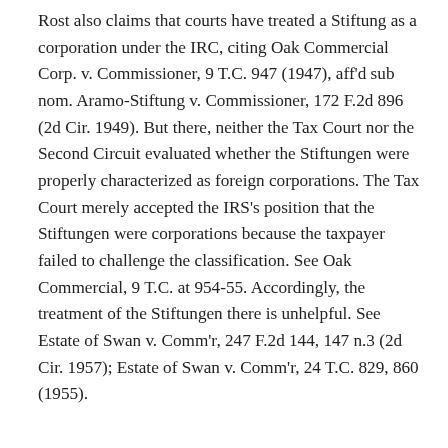Rost also claims that courts have treated a Stiftung as a corporation under the IRC, citing Oak Commercial Corp. v. Commissioner, 9 T.C. 947 (1947), aff'd sub nom. Aramo-Stiftung v. Commissioner, 172 F.2d 896 (2d Cir. 1949). But there, neither the Tax Court nor the Second Circuit evaluated whether the Stiftungen were properly characterized as foreign corporations. The Tax Court merely accepted the IRS's position that the Stiftungen were corporations because the taxpayer failed to challenge the classification. See Oak Commercial, 9 T.C. at 954-55. Accordingly, the treatment of the Stiftungen there is unhelpful. See Estate of Swan v. Comm'r, 247 F.2d 144, 147 n.3 (2d Cir. 1957); Estate of Swan v. Comm'r, 24 T.C. 829, 860 (1955).